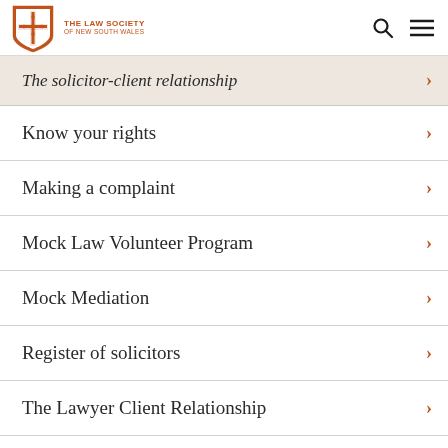The Law Society of New South Wales
The solicitor-client relationship
Know your rights
Making a complaint
Mock Law Volunteer Program
Mock Mediation
Register of solicitors
The Lawyer Client Relationship
The Pro Bono Scheme